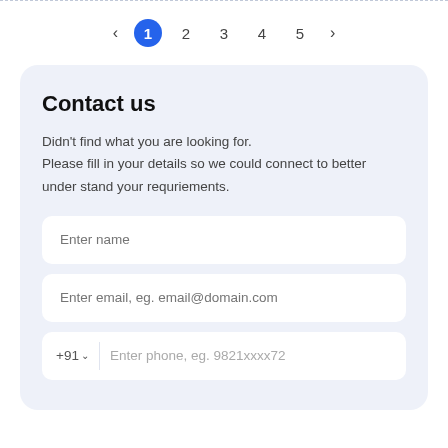[Figure (other): Pagination bar with left arrow, active page 1 (blue circle), pages 2, 3, 4, 5, and right arrow]
Contact us
Didn't find what you are looking for. Please fill in your details so we could connect to better under stand your requriements.
Enter name
Enter email, eg. email@domain.com
+91 ∨  Enter phone, eg. 9821xxxx72